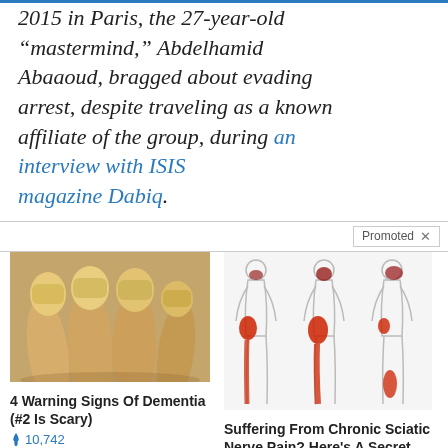2015 in Paris, the 27-year-old “mastermind,” Abdelhamid Abaaoud, bragged about evading arrest, despite traveling as a known affiliate of the group, during an interview with ISIS magazine Dabiq.
Promoted ×
[Figure (photo): Close-up photo of fingernails, yellowish tint, multiple fingers visible]
4 Warning Signs Of Dementia (#2 Is Scary)
10,742
[Figure (illustration): Medical illustration showing three body diagrams with red areas highlighting sciatic nerve pain regions]
Suffering From Chronic Sciatic Nerve Pain? Here’s A Secret You Need To Know
78,222